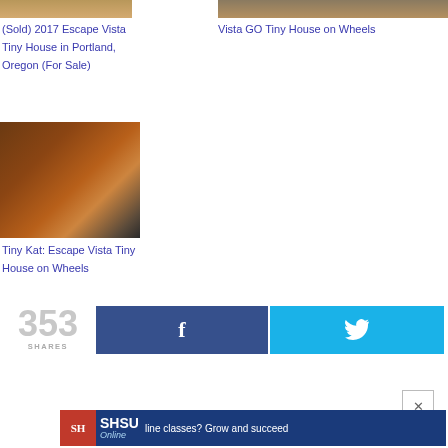[Figure (photo): Top portion of a tiny house photo (sold)]
(Sold) 2017 Escape Vista Tiny House in Portland, Oregon (For Sale)
[Figure (photo): Vista GO Tiny House on Wheels on a trailer]
Vista GO Tiny House on Wheels
[Figure (photo): Tiny Kat Escape Vista Tiny House with cedar wood siding on wheels]
Tiny Kat: Escape Vista Tiny House on Wheels
353
SHARES
[Figure (infographic): Facebook share button with f icon]
[Figure (infographic): Twitter share button with bird icon]
[Figure (infographic): SHSU Online advertisement banner]